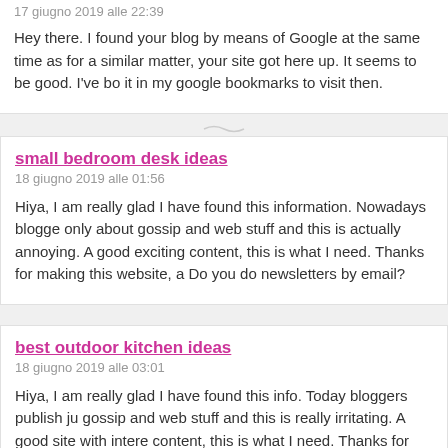17 giugno 2019 alle 22:39
Hey there. I found your blog by means of Google at the same time as for a similar matter, your site got here up. It seems to be good. I've bo it in my google bookmarks to visit then.
small bedroom desk ideas
18 giugno 2019 alle 01:56
Hiya, I am really glad I have found this information. Nowadays blogge only about gossip and web stuff and this is actually annoying. A good exciting content, this is what I need. Thanks for making this website, a Do you do newsletters by email?
best outdoor kitchen ideas
18 giugno 2019 alle 03:01
Hiya, I am really glad I have found this info. Today bloggers publish ju gossip and web stuff and this is really irritating. A good site with intere content, this is what I need. Thanks for making this web site, and I wi do newsletters by email?